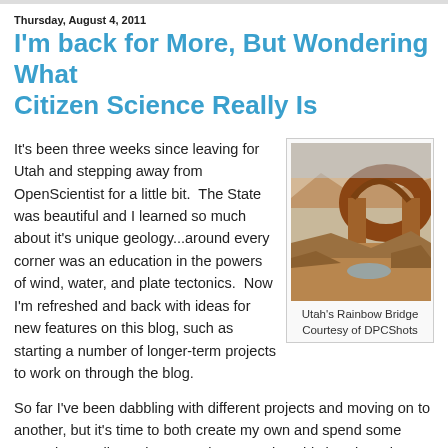Thursday, August 4, 2011
I'm back for More, But Wondering What Citizen Science Really Is
It's been three weeks since leaving for Utah and stepping away from OpenScientist for a little bit.  The State was beautiful and I learned so much about it's unique geology...around every corner was an education in the powers of wind, water, and plate tectonics.  Now I'm refreshed and back with ideas for new features on this blog, such as starting a number of longer-term projects to work on through the blog.
[Figure (photo): Photo of Utah's Rainbow Bridge natural arch formation in a desert landscape with red rock formations]
Utah's Rainbow Bridge Courtesy of DPCShots
So far I've been dabbling with different projects and moving on to another, but it's time to both create my own and spend some more time really getting to work on a topic.  This isn't just about me though...I'd like to bring you